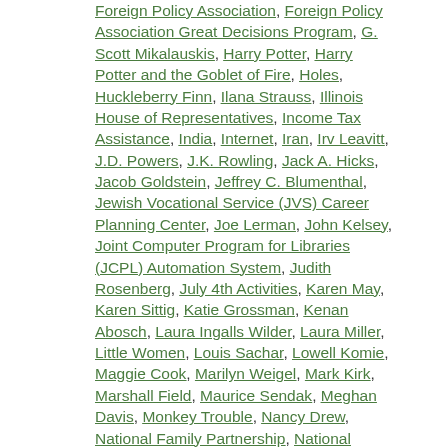Foreign Policy Association, Foreign Policy Association Great Decisions Program, G. Scott Mikalauskis, Harry Potter, Harry Potter and the Goblet of Fire, Holes, Huckleberry Finn, Ilana Strauss, Illinois House of Representatives, Income Tax Assistance, India, Internet, Iran, Irv Leavitt, J.D. Powers, J.K. Rowling, Jack A. Hicks, Jacob Goldstein, Jeffrey C. Blumenthal, Jewish Vocational Service (JVS) Career Planning Center, Joe Lerman, John Kelsey, Joint Computer Program for Libraries (JCPL) Automation System, Judith Rosenberg, July 4th Activities, Karen May, Karen Sittig, Katie Grossman, Kenan Abosch, Laura Ingalls Wilder, Laura Miller, Little Women, Louis Sachar, Lowell Komie, Maggie Cook, Marilyn Weigel, Mark Kirk, Marshall Field, Maurice Sendak, Meghan Davis, Monkey Trouble, Nancy Drew, National Family Partnership, National Family Partnership of Deerfield, Nickel and Dimed, North Africa, North Shore, Ott Cabin, Pepito's Story, Possession, Pulitzer Prize, Ravenswood Theater, Ravinia, Richard Russo, Roberta Glick, Roberts Marionettes, Rosemary, Rosemary Sazonoff Writing Contest, Sage, Sally Brickman Seifert, Samantha Davidson, Searchable PDF, Sharon Greenspan Lewin, Sheryl